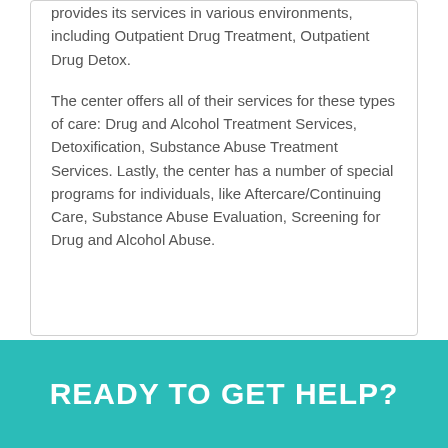provides its services in various environments, including Outpatient Drug Treatment, Outpatient Drug Detox.
The center offers all of their services for these types of care: Drug and Alcohol Treatment Services, Detoxification, Substance Abuse Treatment Services. Lastly, the center has a number of special programs for individuals, like Aftercare/Continuing Care, Substance Abuse Evaluation, Screening for Drug and Alcohol Abuse.
READY TO GET HELP?